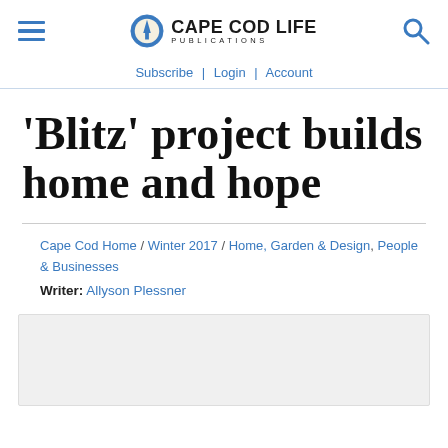Cape Cod Life Publications — Subscribe | Login | Account
'Blitz' project builds home and hope
Cape Cod Home / Winter 2017 / Home, Garden & Design, People & Businesses
Writer: Allyson Plessner
[Figure (photo): Light gray placeholder image area at bottom of page]